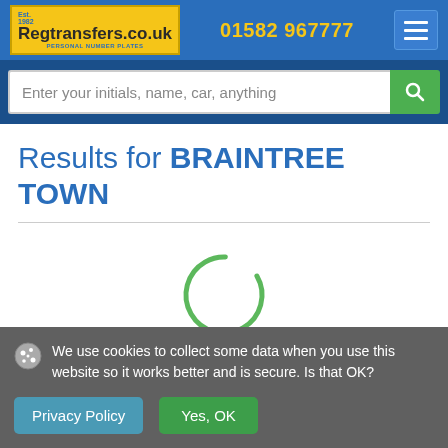Regtransfers.co.uk | Est. 1982 | PERSONAL NUMBER PLATES | 01582 967777
Enter your initials, name, car, anything
Results for BRAINTREE TOWN
[Figure (other): Loading spinner - green circular arc indicating content is loading]
Loading...
We use cookies to collect some data when you use this website so it works better and is secure. Is that OK?
Privacy Policy
Yes, OK